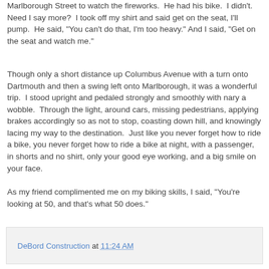Marlborough Street to watch the fireworks.  He had his bike.  I didn't.  Need I say more?  I took off my shirt and said get on the seat, I'll pump.  He said, "You can't do that, I'm too heavy." And I said, "Get on the seat and watch me."
Though only a short distance up Columbus Avenue with a turn onto Dartmouth and then a swing left onto Marlborough, it was a wonderful trip.  I stood upright and pedaled strongly and smoothly with nary a wobble.  Through the light, around cars, missing pedestrians, applying brakes accordingly so as not to stop, coasting down hill, and knowingly lacing my way to the destination.  Just like you never forget how to ride a bike, you never forget how to ride a bike at night, with a passenger, in shorts and no shirt, only your good eye working, and a big smile on your face.
As my friend complimented me on my biking skills, I said, "You're looking at 50, and that's what 50 does."
DeBord Construction at 11:24 AM